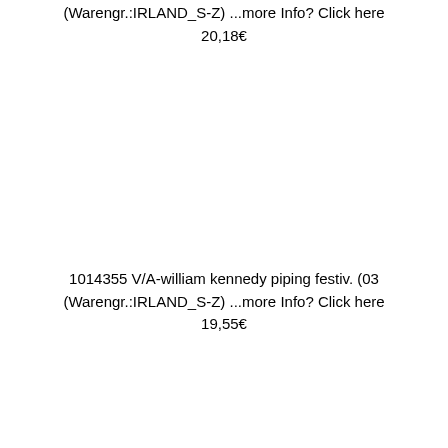(Warengr.:IRLAND_S-Z) ...more Info? Click here
20,18€
1014355 V/A-william kennedy piping festiv. (03
(Warengr.:IRLAND_S-Z) ...more Info? Click here
19,55€
1014126 SHANNON,SHARON-libertango (03)
(Warengr.:IRLAND_S-Z) ...more Info? Click here
14,59€
1013621 V/A-trathnona eile (03)
(Warengr.:IRLAND_S-Z) ...more Info? Click here
18,75€